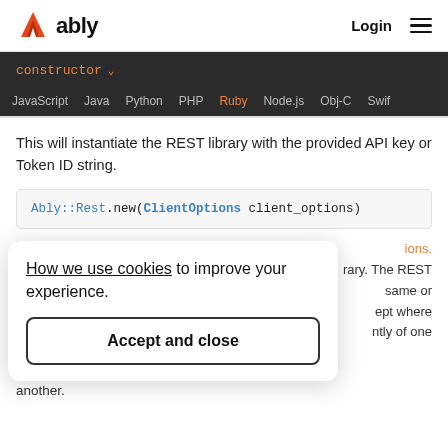[Figure (logo): Ably logo with orange triangle/chevron icon and 'ably' text in black]
Login ≡
constructor
JavaScript  Java  Python  PHP  Ruby  Node.js  Obj-C  Swift
This will instantiate the REST library with the provided API key or Token ID string.
How we use cookies to improve your experience. Accept and close
ions.  rary. The REST  same or  ept where  ntly of one another.